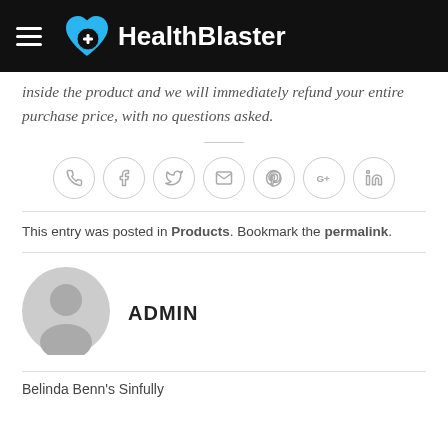HealthBlaster
inside the product and we will immediately refund your entire purchase price, with no questions asked.
[Figure (other): Social share icons row: phone, facebook, twitter, email, pinterest, google+, linkedin — all grey circle outline icons]
This entry was posted in Products. Bookmark the permalink.
[Figure (illustration): Grey default user avatar — circular silhouette of a person]
ADMIN
Belinda Benn's Sinfully